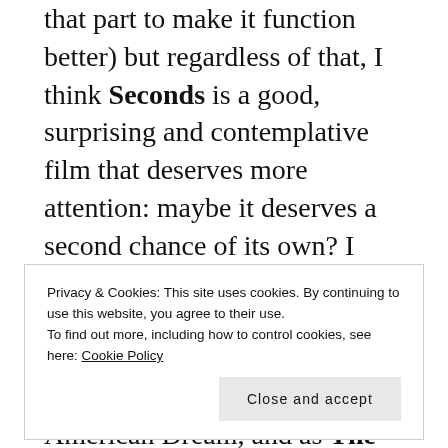that part to make it function better) but regardless of that, I think Seconds is a good, surprising and contemplative film that deserves more attention: maybe it deserves a second chance of its own? I also think its curious how similar it feels to Frank Perry's The Swimmer, in its tone, mood and re-evaluation of the American Dream, and as The Swimmer is one of my favourite movies of the 1960s its inevitable that I found Seconds so enthralling. One of those films that few people
Privacy & Cookies: This site uses cookies. By continuing to use this website, you agree to their use.
To find out more, including how to control cookies, see here: Cookie Policy